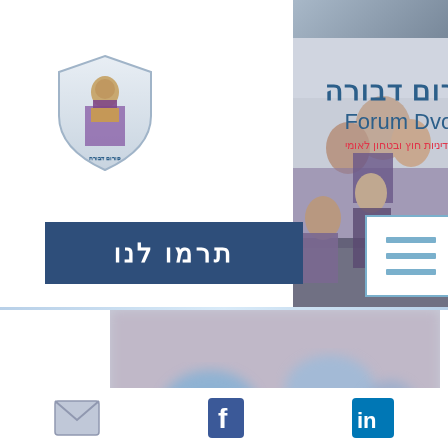[Figure (photo): Forum Dvorah logo with Hebrew text פורום דבורה, English text Forum Dvorah, subtitle in Hebrew, and a shield emblem with a woman figure]
[Figure (photo): Small photo strip at top right - partial image]
[Figure (photo): Right side photo of women seated at an event/conference]
[Figure (other): Donate button with Hebrew text תרמו לנו on dark blue background]
[Figure (other): Menu hamburger icon in blue outlined box with three horizontal lines]
[Figure (photo): Large blurred event/conference photo with blue decorations and crowd]
[Figure (other): Social media icons bar: email envelope, Facebook f logo, LinkedIn in logo]